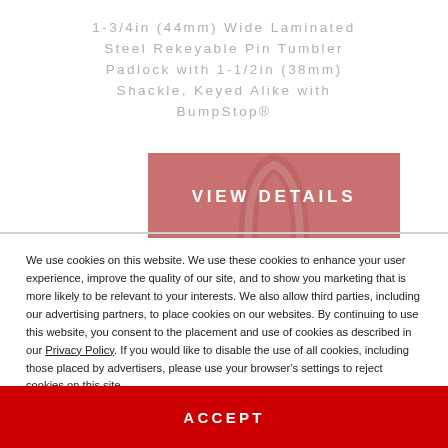1-3/4in (44mm) Wide Laminated Steel Rekeyable Pin Tumbler Padlock with 1-1/2in (38mm) Shackle, Keyed Alike with BumpStop®
[Figure (screenshot): Red/pink button with 'VIEW DETAILS' text overlaid on a partial image of a padlock shackle]
We use cookies on this website. We use these cookies to enhance your user experience, improve the quality of our site, and to show you marketing that is more likely to be relevant to your interests. We also allow third parties, including our advertising partners, to place cookies on our websites. By continuing to use this website, you consent to the placement and use of cookies as described in our Privacy Policy. If you would like to disable the use of all cookies, including those placed by advertisers, please use your browser's settings to reject cookies on this site.
ACCEPT